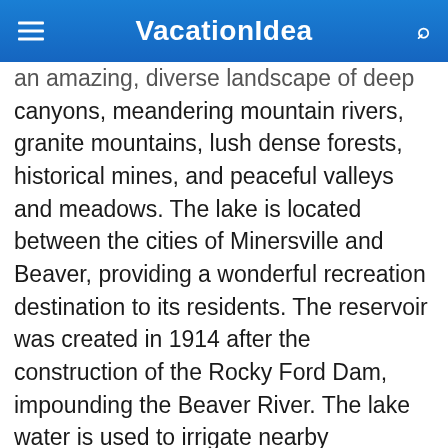VacationIdea
an amazing, diverse landscape of deep canyons, meandering mountain rivers, granite mountains, lush dense forests, historical mines, and peaceful valleys and meadows. The lake is located between the cities of Minersville and Beaver, providing a wonderful recreation destination to its residents. The reservoir was created in 1914 after the construction of the Rocky Ford Dam, impounding the Beaver River. The lake water is used to irrigate nearby farmlands, so the water level varies severely throughout the year. Today the Minersville Reservoir is